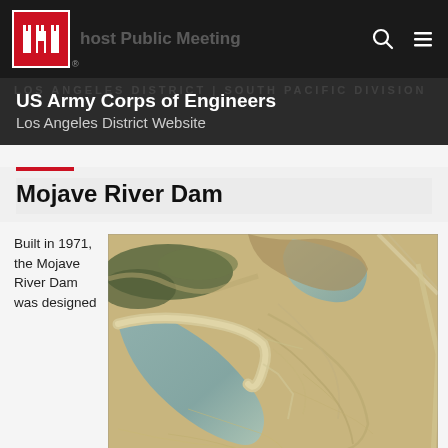US Army Corps of Engineers Los Angeles District Website
Mojave River Dam
Built in 1971, the Mojave River Dam was designed
[Figure (photo): Aerial satellite view of Mojave River Dam showing the curved dam structure, reservoir, surrounding desert terrain with dry riverbeds and roads]